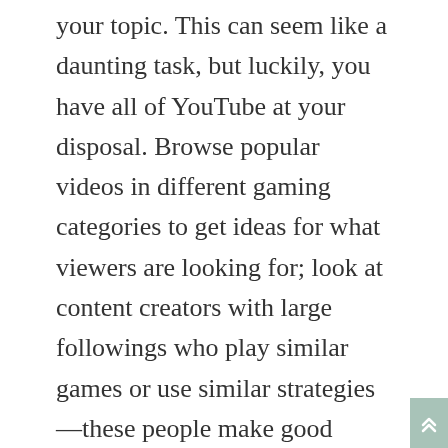your topic. This can seem like a daunting task, but luckily, you have all of YouTube at your disposal. Browse popular videos in different gaming categories to get ideas for what viewers are looking for; look at content creators with large followings who play similar games or use similar strategies—these people make good competitors and sources of inspiration. Once you know what you want to talk about, it's time to plan out your show.
Deciding Which Games To Stream
One of the most important steps in getting your